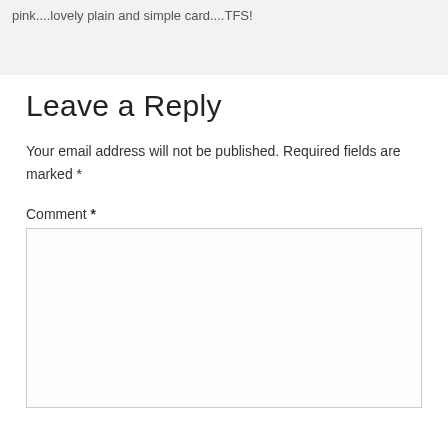pink....lovely plain and simple card....TFS!
Leave a Reply
Your email address will not be published. Required fields are marked *
Comment *
[Figure (other): Empty comment textarea input box]